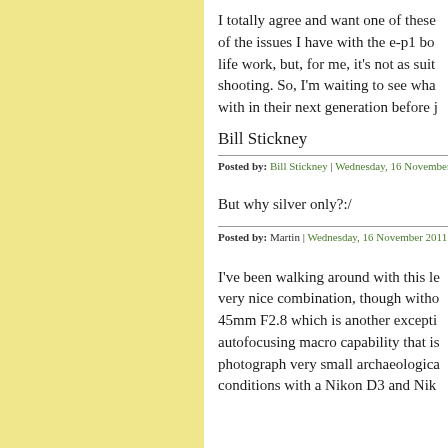I totally agree and want one of these of the issues I have with the e-p1 bo life work, but, for me, it's not as suit shooting. So, I'm waiting to see wha with in their next generation before j
Bill Stickney
Posted by: Bill Stickney | Wednesday, 16 November 20
But why silver only?:/
Posted by: Martin | Wednesday, 16 November 2011 at
I've been walking around with this le very nice combination, though witho 45mm F2.8 which is another excepti autofocusing macro capability that is photograph very small archaeologica conditions with a Nikon D3 and Nik